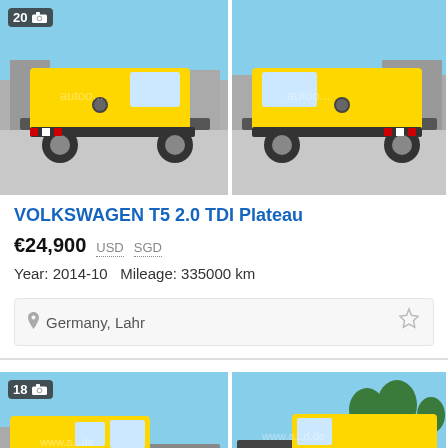[Figure (photo): Two side-by-side photos of a yellow Volkswagen T5 flatbed/plateau tow truck. Left image shows front-left view with photo count badge '20' and camera icon. Right image shows front-right view. Vehicles are yellow with red/white hazard markings. Watermark visible.]
VOLKSWAGEN T5 2.0 TDI Plateau
€24,900  USD  SGD
Year: 2014-10   Mileage: 335000 km
Germany, Lahr
[Figure (photo): Two side-by-side photos of a yellow Volkswagen T5 flatbed truck. Left image shows left-side view of yellow truck with flatbed. Right image shows right-side view. Photo count badge '18' with camera icon visible on left image.]